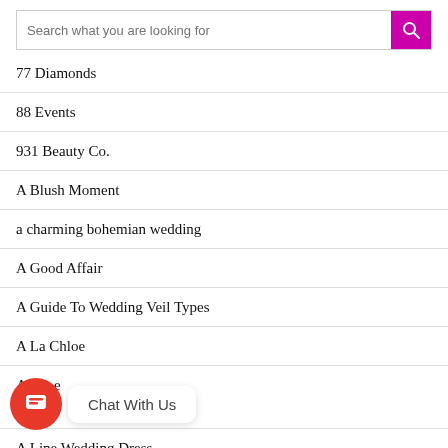Search what you are looking for
77 Diamonds
88 Events
931 Beauty Co.
A Blush Moment
a charming bohemian wedding
A Good Affair
A Guide To Wedding Veil Types
A La Chloe
A [partially obscured]e
A Line Wedding Dress